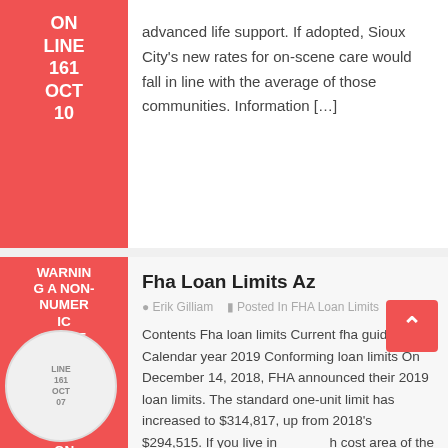advanced life support. If adopted, Sioux City's new rates for on-scene care would fall in line with the average of those communities. Information […]
Fha Loan Limits Az
Erik Gilliam   Posted In FHA Loan Limits
Contents Fha loan limits Current fha guidelines Calendar year 2019 Conforming loan limits On December 14, 2018, FHA announced their 2019 loan limits. The standard one-unit limit has increased to $314,817, up from 2018's $294,515. If you live in a high cost area of the country, you're limit may be as high as $726,525. lLearn […]